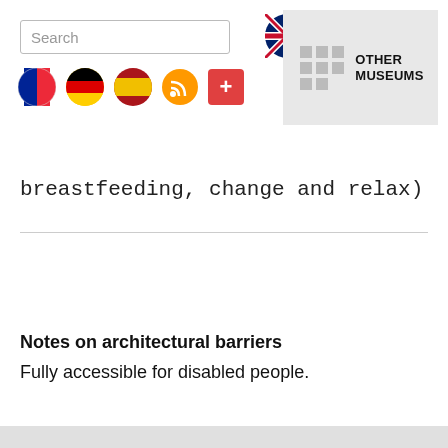Search | UK flag | Other Museums | Flag icons (French, German, Spanish, RSS, Plus)
breastfeeding, change and relax)
Notes on architectural barriers
Fully accessible for disabled people.